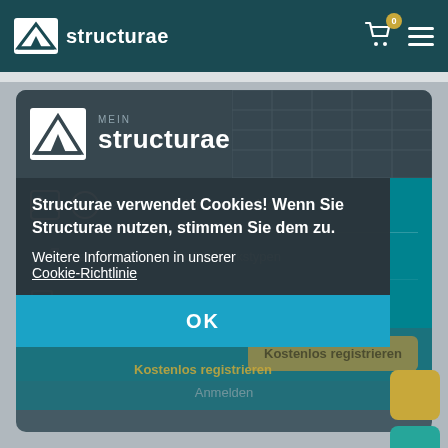structurae
[Figure (screenshot): Mein Structurae login/registration card with teal background showing features: 20.000+ Bilder herunterladen, Datendiagramme für Bauwerkstypen, Volltext für ausgewählte Artikel]
Structurae verwendet Cookies! Wenn Sie Structurae nutzen, stimmen Sie dem zu.
Weitere Informationen in unserer Cookie-Richtlinie
OK